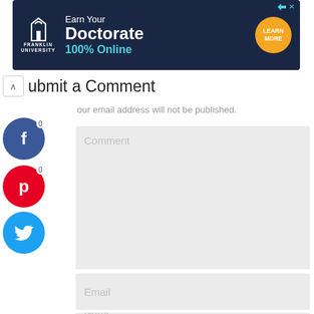[Figure (other): Franklin University advertisement banner: dark navy background with Franklin University logo on left, 'Earn Your Doctorate 100% Online' text in center, orange circular 'LEARN MORE' button on right]
Submit a Comment
Your email address will not be published.
[Figure (other): Facebook share button (blue circle with 'f') with count 0]
[Figure (other): Pinterest share button (red circle with 'p') with count 0]
[Figure (other): Twitter share button (blue circle with bird icon)]
Comment
Name
Email